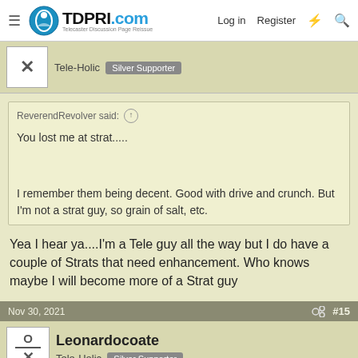TDPRI.com - Telecaster Discussion Page Reissue | Log in | Register
Tele-Holic  Silver Supporter
ReverendRevolver said:
You lost me at strat.....

I remember them being decent. Good with drive and crunch. But I'm not a strat guy, so grain of salt, etc.
Yea I hear ya....I'm a Tele guy all the way but I do have a couple of Strats that need enhancement. Who knows maybe I will become more of a Strat guy
Nov 30, 2021  #15
Leonardocoate
Tele-Holic  Silver Supporter